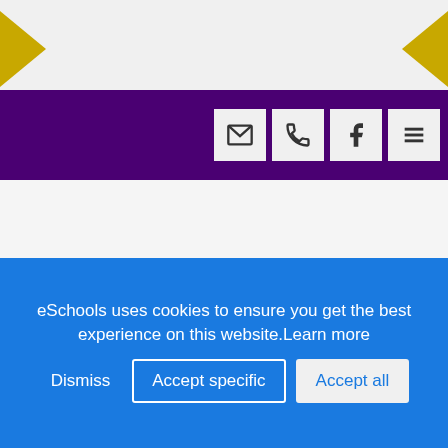[Figure (screenshot): Website header with gold chevron decorative elements on left and right sides against a light grey background, followed by a purple navigation bar with icon buttons for email, phone, Facebook, and menu]
Term Dates
eSchools uses cookies to ensure you get the best experience on this website.Learn more
Dismiss Accept specific Accept all